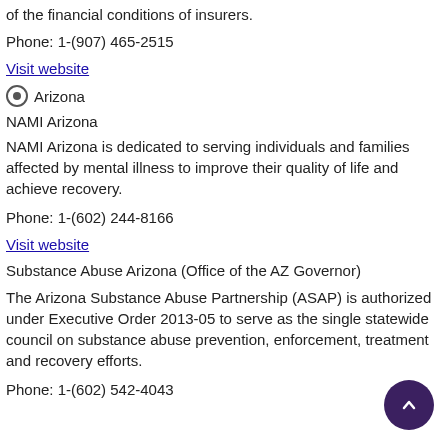of the financial conditions of insurers.
Phone: 1-(907) 465-2515
Visit website
Arizona
NAMI Arizona
NAMI Arizona is dedicated to serving individuals and families affected by mental illness to improve their quality of life and achieve recovery.
Phone: 1-(602) 244-8166
Visit website
Substance Abuse Arizona (Office of the AZ Governor)
The Arizona Substance Abuse Partnership (ASAP) is authorized under Executive Order 2013-05 to serve as the single statewide council on substance abuse prevention, enforcement, treatment and recovery efforts.
Phone: 1-(602) 542-4043